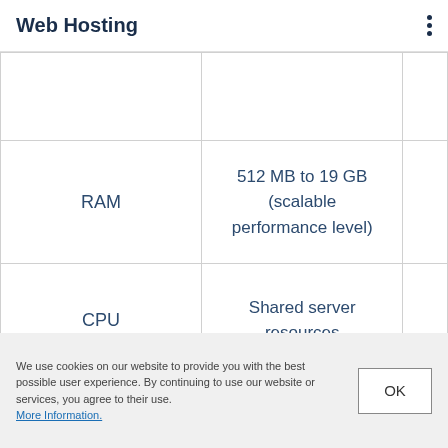Web Hosting
|  |  |  |
| RAM | 512 MB to 19 GB (scalable performance level) |  |
| CPU | Shared server resources |  |
|  |  |  |
We use cookies on our website to provide you with the best possible user experience. By continuing to use our website or services, you agree to their use. More Information.